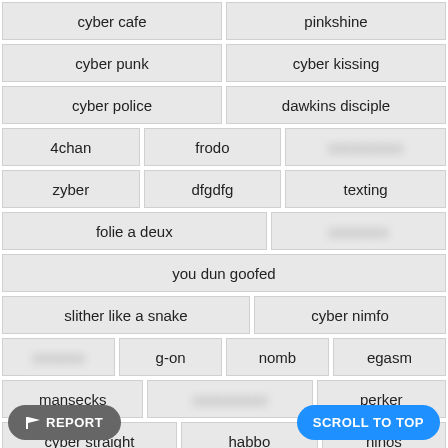cyber cafe
pinkshine
cyber punk
cyber kissing
cyber police
dawkins disciple
4chan
frodo
[blurred]
zyber
dfgdfg
texting
folie a deux
[blurred]
you dun goofed
slither like a snake
cyber nimfo
[blurred]
g-on
nomb
egasm
mansecks
[blurred]
perker
cyber straight
habbo
ninos